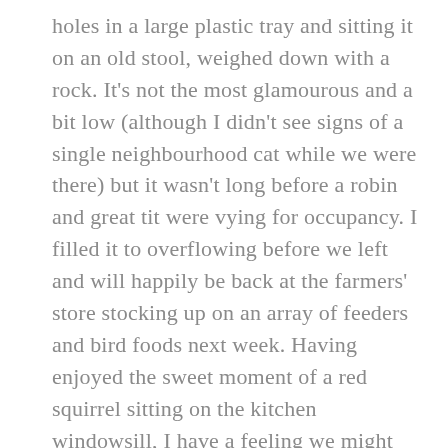holes in a large plastic tray and sitting it on an old stool, weighed down with a rock. It's not the most glamourous and a bit low (although I didn't see signs of a single neighbourhood cat while we were there) but it wasn't long before a robin and great tit were vying for occupancy. I filled it to overflowing before we left and will happily be back at the farmers' store stocking up on an array of feeders and bird foods next week. Having enjoyed the sweet moment of a red squirrel sitting on the kitchen windowsill, I have a feeling we might attract some little furry visitors, too.